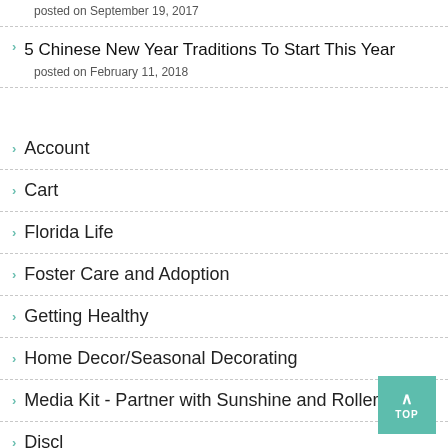posted on September 19, 2017
5 Chinese New Year Traditions To Start This Year
posted on February 11, 2018
Account
Cart
Florida Life
Foster Care and Adoption
Getting Healthy
Home Decor/Seasonal Decorating
Media Kit - Partner with Sunshine and RollerCoas
Disclosures and Privacy Policy